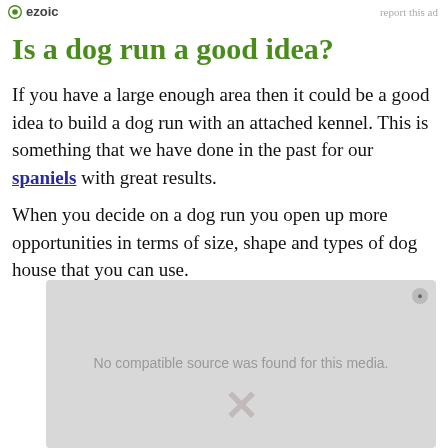ezoic  report this ad
Is a dog run a good idea?
If you have a large enough area then it could be a good idea to build a dog run with an attached kennel. This is something that we have done in the past for our spaniels with great results.
When you decide on a dog run you open up more opportunities in terms of size, shape and types of dog house that you can use.
[Figure (other): Video media player placeholder showing 'No compatible source was found for this media.' with an X mark overlay on a grey background.]